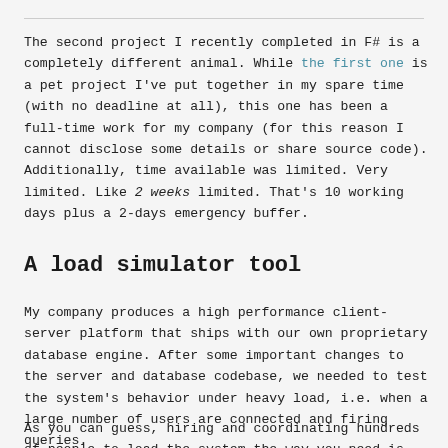The second project I recently completed in F# is a completely different animal. While the first one is a pet project I've put together in my spare time (with no deadline at all), this one has been a full-time work for my company (for this reason I cannot disclose some details or share source code). Additionally, time available was limited. Very limited. Like 2 weeks limited. That's 10 working days plus a 2-days emergency buffer.
A load simulator tool
My company produces a high performance client-server platform that ships with our own proprietary database engine. After some important changes to the server and database codebase, we needed to test the system's behavior under heavy load, i.e. when a large number of users are connected and firing queries.
As you can guess, hiring and coordinating hundreds of people to load the system the way you need is very impractical, if